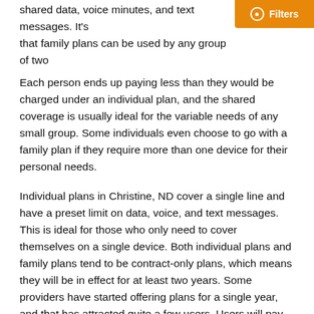shared data, voice minutes, and text messages. It's that family plans can be used by any group of two. Each person ends up paying less than they would be charged under an individual plan, and the shared coverage is usually ideal for the variable needs of any small group. Some individuals even choose to go with a family plan if they require more than one device for their personal needs.
Individual plans in Christine, ND cover a single line and have a preset limit on data, voice, and text messages. This is ideal for those who only need to cover themselves on a single device. Both individual plans and family plans tend to be contract-only plans, which means they will be in effect for at least two years. Some providers have started offering plans for a single year, and that has attracted quite a few users. Users will pay on a month-to-month basis, but their payments will be set at a single rate. Overages might cause higher premiums, but each monthly payment would have the same base value. Early termination fees apply to such accounts in order to discourage breaking the contract.
No-contract plans in Christine, ND come in a variety of styles within